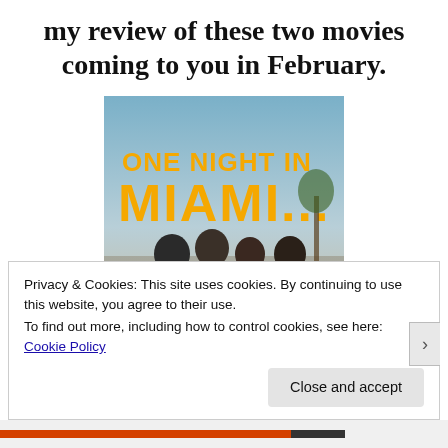my review of these two movies coming to you in February.
[Figure (photo): Movie poster for 'One Night in Miami...' showing bold yellow/orange title text over a sky background with four men standing in formal and semi-formal attire.]
Privacy & Cookies: This site uses cookies. By continuing to use this website, you agree to their use.
To find out more, including how to control cookies, see here: Cookie Policy